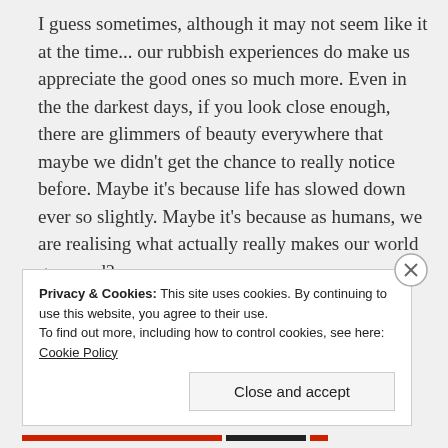I guess sometimes, although it may not seem like it at the time... our rubbish experiences do make us appreciate the good ones so much more. Even in the the darkest days, if you look close enough, there are glimmers of beauty everywhere that maybe we didn't get the chance to really notice before. Maybe it's because life has slowed down ever so slightly. Maybe it's because as humans, we are realising what actually really makes our world go round?
Privacy & Cookies: This site uses cookies. By continuing to use this website, you agree to their use. To find out more, including how to control cookies, see here: Cookie Policy Close and accept